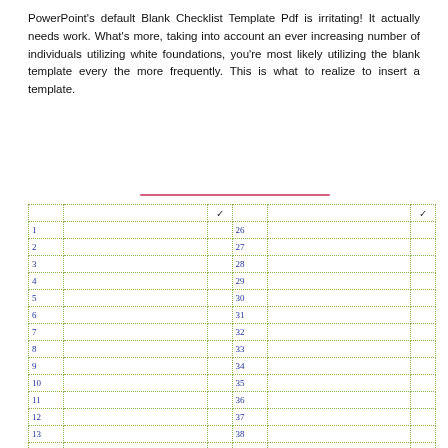PowerPoint's default Blank Checklist Template Pdf is irritating! It actually needs work. What's more, taking into account an ever increasing number of individuals utilizing white foundations, you're most likely utilizing the blank template every the more frequently. This is what to realize to insert a template.
|  | ✓ |  | ✓ |
| --- | --- | --- | --- |
| 1 |  | 26 |  |
| 2 |  | 27 |  |
| 3 |  | 28 |  |
| 4 |  | 29 |  |
| 5 |  | 30 |  |
| 6 |  | 31 |  |
| 7 |  | 32 |  |
| 8 |  | 33 |  |
| 9 |  | 34 |  |
| 10 |  | 35 |  |
| 11 |  | 36 |  |
| 12 |  | 37 |  |
| 13 |  | 38 |  |
| 14 |  | 39 |  |
| 15 |  | 40 |  |